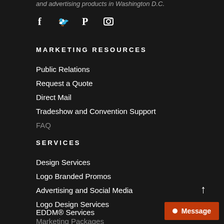and advertising products in Washington D.C.
[Figure (illustration): Social media icons: Facebook (f), Twitter (bird), Pinterest (P), Instagram (camera)]
MARKETING RESOURCES
Public Relations
Request a Quote
Direct Mail
Tradeshow and Convention Support
FAQ
SERVICES
Design Services
Logo Branded Promos
Advertising and Social Media
Logo Design Services
EDDM® Services
Marketing Packages